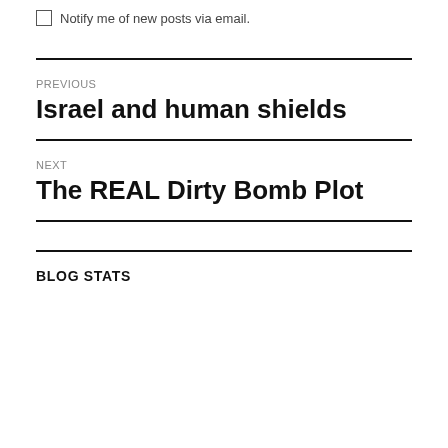Notify me of new posts via email.
PREVIOUS
Israel and human shields
NEXT
The REAL Dirty Bomb Plot
BLOG STATS